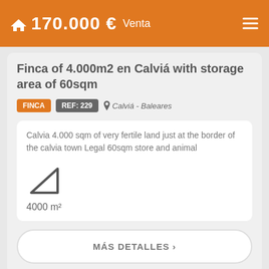170.000 € Venta
Finca of 4.000m2 en Calviá with storage area of 60sqm
FINCA   REF: 229   📍 Calviá - Baleares
Calvia 4.000 sqm of very fertile land just at the border of the calvia town Legal 60sqm store and animal
4000 m²
MÁS DETALLES ›
[Figure (photo): Landscape photo showing forested hillside with trees]